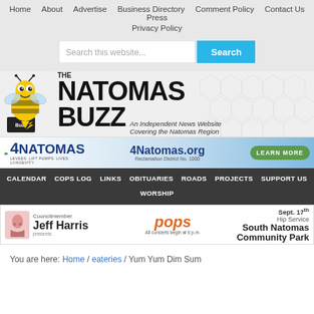Home | About | Advertise | Business Directory | Comment Policy | Contact Us | Press | Privacy Policy
[Figure (screenshot): Search bar with text field 'Search this website...' and blue 'Search' button]
[Figure (logo): The Natomas Buzz - An Independent News Website Covering the Natomas Region, with cartoon bee mascot]
[Figure (infographic): 4Natomas.org advertisement banner - Reclamation District No. 1000 - LEARN MORE button]
CALENDAR | COPS LOG | LINKS | OBITUARIES | ROADS | PROJECTS | SUPPORT US | WORSHIP
[Figure (infographic): Councilmember Jeff Harris presents pops - Sept. 17th Hip Service All concerts begin at 6 p.m. - South Natomas Community Park]
You are here: Home / eateries / Yum Yum Dim Sum